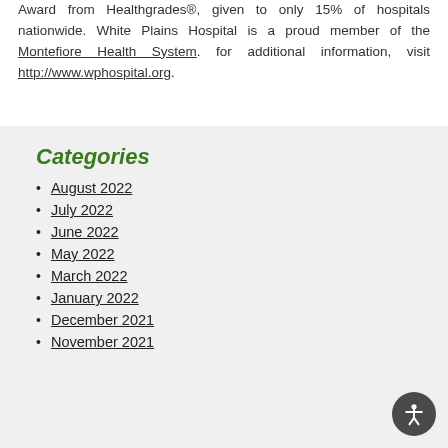Award from Healthgrades®, given to only 15% of hospitals nationwide. White Plains Hospital is a proud member of the Montefiore Health System. for additional information, visit http://www.wphospital.org.
Categories
August 2022
July 2022
June 2022
May 2022
March 2022
January 2022
December 2021
November 2021